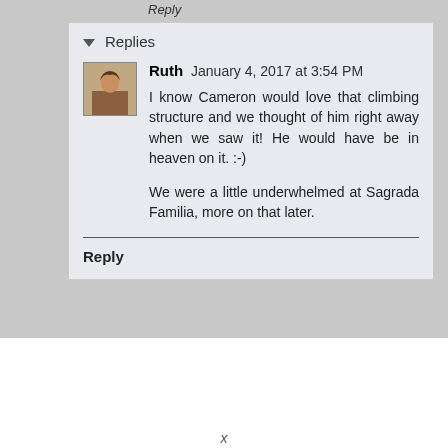Reply
Replies
Ruth  January 4, 2017 at 3:54 PM
I know Cameron would love that climbing structure and we thought of him right away when we saw it! He would have be in heaven on it. :-)

We were a little underwhelmed at Sagrada Familia, more on that later.
Reply